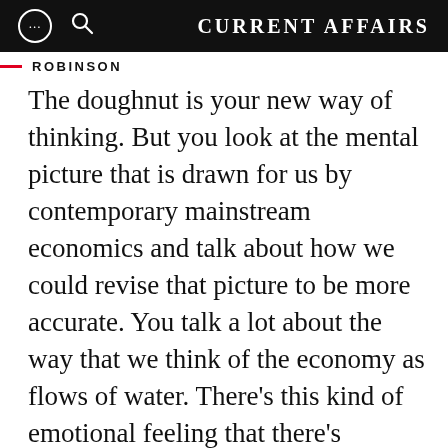CURRENT AFFAIRS
ROBINSON
The doughnut is your new way of thinking. But you look at the mental picture that is drawn for us by contemporary mainstream economics and talk about how we could revise that picture to be more accurate. You talk a lot about the way that we think of the economy as flows of water. There's this kind of emotional feeling that there's something good about going up and to the right, and there's something bad about going down or regressing. You talk about these heuristics that structure all of our conceptions of what is good.